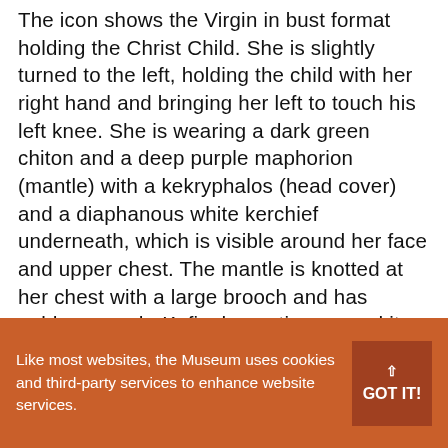The icon shows the Virgin in bust format holding the Christ Child. She is slightly turned to the left, holding the child with her right hand and bringing her left to touch his left knee. She is wearing a dark green chiton and a deep purple maphorion (mantle) with a kekryphalos (head cover) and a diaphanous white kerchief underneath, which is visible around her face and upper chest. The mantle is knotted at her chest with a large brooch and has golden pseudo-Kufic decoration around its edges. Christ is wearing a diaphanous undergarment, visible on his right arm alone, a deep green chiton and an orange-red mantle with gold striations. He blesses with his right hand and is grasping with his left an open scroll with a passage from the Gospel of St Luke 4:18 in black capital letters: ΠΝΕΥΜΑ ΚΥΡΙΟΥ ΕΠ ΕΜΕ
Like most websites, the Museum uses cookies and third-party services to enhance website services.